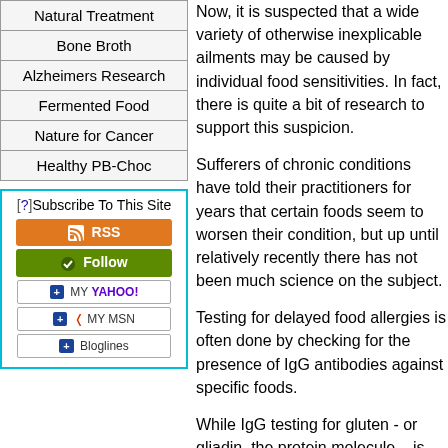Natural Treatment
Bone Broth
Alzheimers Research
Fermented Food
Nature for Cancer
Healthy PB-Choc
[Figure (infographic): Subscribe To This Site box with RSS, Follow, My Yahoo, My MSN, and Bloglines buttons]
Now, it is suspected that a wide variety of otherwise inexplicable ailments may be caused by individual food sensitivities. In fact, there is quite a bit of research to support this suspicion.
Sufferers of chronic conditions have told their practitioners for years that certain foods seem to worsen their condition, but up until relatively recently there has not been much science on the subject.
Testing for delayed food allergies is often done by checking for the presence of IgG antibodies against specific foods.
While IgG testing for gluten - or gliadin, the protein molecule – is not an effective test for celiac disease, it may be helpful for identifying other symptoms of food sensitivity that occur outside the gut (1).
Read more: Delayed Food Allerg…
Reviewing the
It would be great if researchers had looked at run a complete food sensitivity screen f…